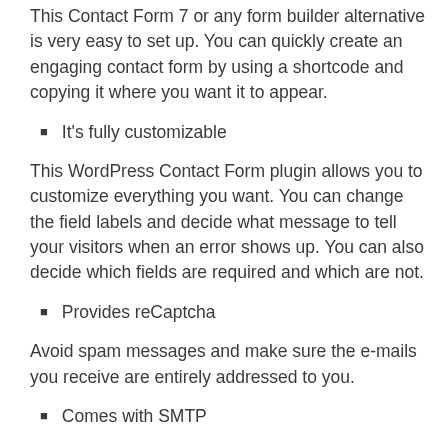This Contact Form 7 or any form builder alternative is very easy to set up. You can quickly create an engaging contact form by using a shortcode and copying it where you want it to appear.
It's fully customizable
This WordPress Contact Form plugin allows you to customize everything you want. You can change the field labels and decide what message to tell your visitors when an error shows up. You can also decide which fields are required and which are not.
Provides reCaptcha
Avoid spam messages and make sure the e-mails you receive are entirely addressed to you.
Comes with SMTP